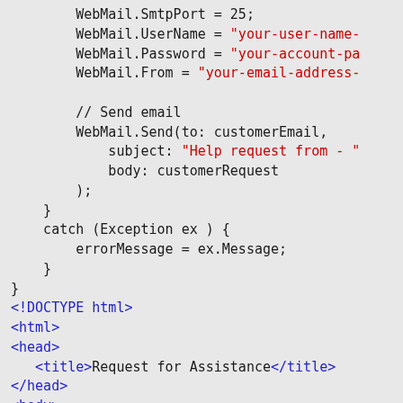Code snippet showing WebMail configuration and HTML template with C# Razor syntax